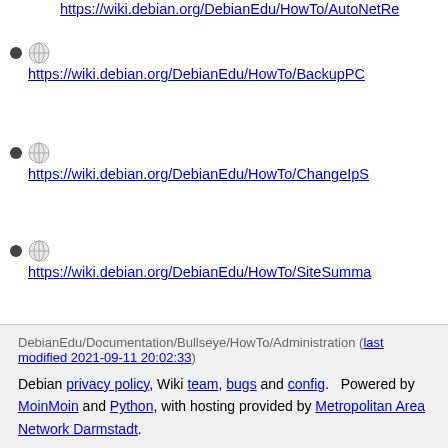https://wiki.debian.org/DebianEdu/HowTo/AutoNetRe...
https://wiki.debian.org/DebianEdu/HowTo/BackupPC...
https://wiki.debian.org/DebianEdu/HowTo/ChangeIpS...
https://wiki.debian.org/DebianEdu/HowTo/SiteSumma...
https://wiki.debian.org/DebianEdu/HowTo/Squid_LDA...
CategoryPermalink
DebianEdu/Documentation/Bullseye/HowTo/Administration (last modified 2021-09-11 20:02:33)
Debian privacy policy, Wiki team, bugs and config. Powered by MoinMoin and Python, with hosting provided by Metropolitan Area Network Darmstadt.